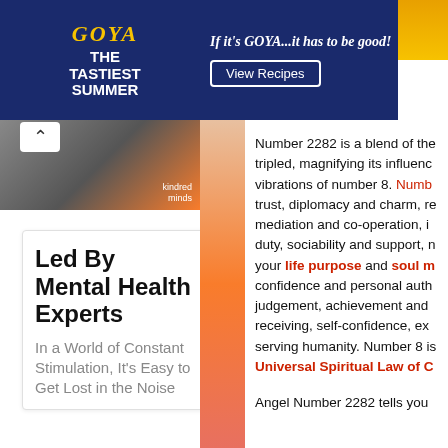[Figure (photo): Goya advertisement banner with dark blue background, food image, 'The Tastiest Summer' tagline, 'If it's Goya... it has to be good!' slogan, and 'View Recipes' button]
[Figure (photo): Partial photo with dark and orange tones, 'kindred minds' label in bottom right corner]
Led By Mental Health Experts
In a World of Constant Stimulation, It's Easy to Get Lost in the Noise
[Figure (illustration): Decorative illustrated strip with orange and red tones, floral/abstract pattern]
Number 2282 is a blend of the tripled, magnifying its influence vibrations of number 8. Number trust, diplomacy and charm, mediation and co-operation, duty, sociability and support, your life purpose and soul mission confidence and personal authority, judgement, achievement and receiving, self-confidence, serving humanity. Number 8 is Universal Spiritual Law of Cause
Angel Number 2282 tells you